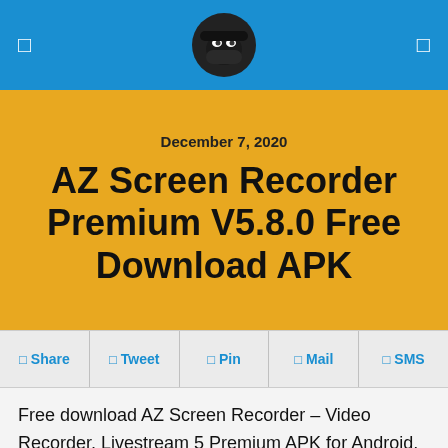AZ Screen Recorder – App download site header with ninja logo
December 7, 2020
AZ Screen Recorder Premium V5.8.0 Free Download APK
Share
Tweet
Pin
Mail
SMS
Free download AZ Screen Recorder – Video Recorder, Livestream 5 Premium APK for Android, it does NOT require root access, no time limit, no watermark, ad free and very easy to use with one action to start and stop recording.